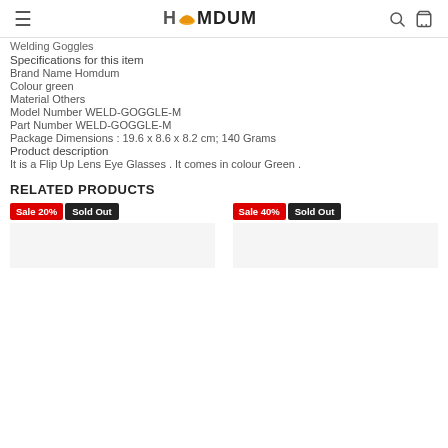HOMDUM
Welding Goggles
Specifications for this item
Brand Name Homdum
Colour green
Material Others
Model Number WELD-GOGGLE-M
Part Number WELD-GOGGLE-M
Package Dimensions : 19.6 x 8.6 x 8.2 cm; 140 Grams
Product description
It is a Flip Up Lens Eye Glasses . It comes in colour Green .
RELATED PRODUCTS
[Figure (other): Product card with Sale 20% and Sold Out badges]
[Figure (other): Product card with Sale 40% and Sold Out badges]